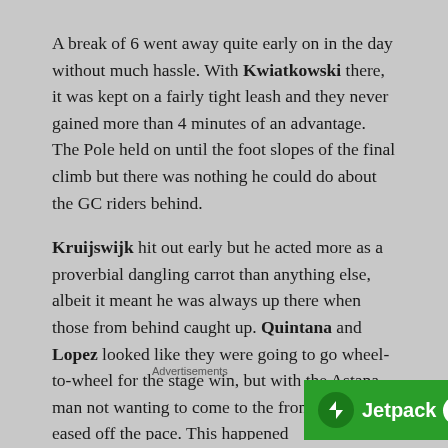A break of 6 went away quite early on in the day without much hassle. With Kwiatkowski there, it was kept on a fairly tight leash and they never gained more than 4 minutes of an advantage. The Pole held on until the foot slopes of the final climb but there was nothing he could do about the GC riders behind.
Kruijswijk hit out early but he acted more as a proverbial dangling carrot than anything else, albeit it meant he was always up there when those from behind caught up. Quintana and Lopez looked like they were going to go wheel-to-wheel for the stage win, but with the Astana man not wanting to come to the front, Quintana eased off the pace. This happened
Advertisements
[Figure (other): Jetpack advertisement banner with green background, Jetpack logo and 'Back up your site' button]